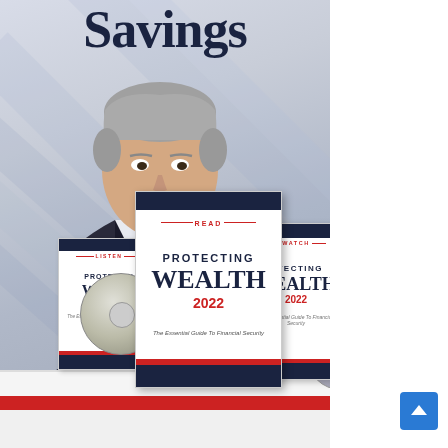Savings
[Figure (photo): A man in a dark suit with a blue tie, grey hair, standing in front of a light background with American flag motif. Below him are three products: a book titled 'PROTECTING WEALTH 2022', a DVD case, and an audio CD, all branded 'Protecting Wealth 2022 - The Essential Guide To Financial Security'. A 'LISTEN', 'READ', and 'WATCH' label appears on each respective format.]
[Figure (photo): Partial view of a promotional banner at the bottom with a red bar and white background, partially cut off.]
[Figure (other): Blue scroll-to-top button with white upward-pointing arrow chevron in the lower right.]